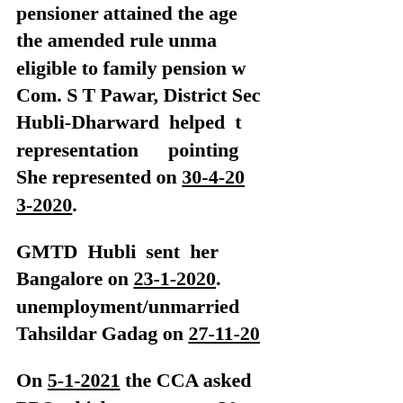pensioner attained the age the amended rule unma eligible to family pension w Com. S T Pawar, District Sec Hubli-Dharward helped t representation pointing She represented on 30-4-20 3-2020.
GMTD Hubli sent her Bangalore on 23-1-2020. unemployment/unmarried Tahsildar Gadag on 27-11-20
On 5-1-2021 the CCA asked PPO which was sent on 30- Changappa, Circle Secreta Karnataka Circle took up th